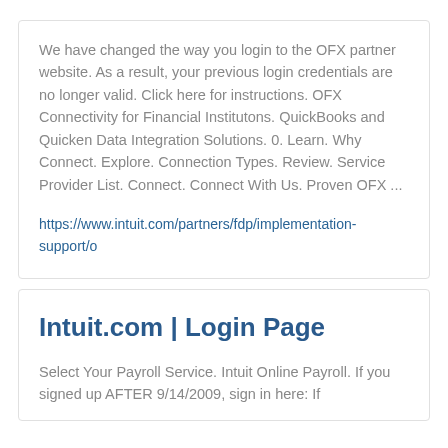We have changed the way you login to the OFX partner website. As a result, your previous login credentials are no longer valid. Click here for instructions. OFX Connectivity for Financial Institutons. QuickBooks and Quicken Data Integration Solutions. 0. Learn. Why Connect. Explore. Connection Types. Review. Service Provider List. Connect. Connect With Us. Proven OFX ...
https://www.intuit.com/partners/fdp/implementation-support/o
Intuit.com | Login Page
Select Your Payroll Service. Intuit Online Payroll. If you signed up AFTER 9/14/2009, sign in here: If